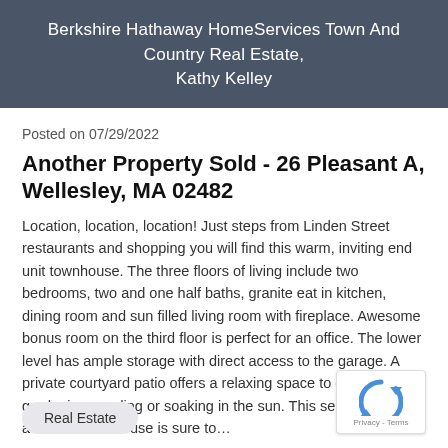Berkshire Hathaway HomeServices Town And Country Real Estate, Kathy Kelley
Posted on 07/29/2022
Another Property Sold - 26 Pleasant A, Wellesley, MA 02482
Location, location, location! Just steps from Linden Street restaurants and shopping you will find this warm, inviting end unit townhouse. The three floors of living include two bedrooms, two and one half baths, granite eat in kitchen, dining room and sun filled living room with fireplace. Awesome bonus room on the third floor is perfect for an office. The lower level has ample storage with direct access to the garage. A private courtyard patio offers a relaxing space to enjoy gardening, reading or soaking in the sun. This seldom available townhouse is sure to…
Real Estate